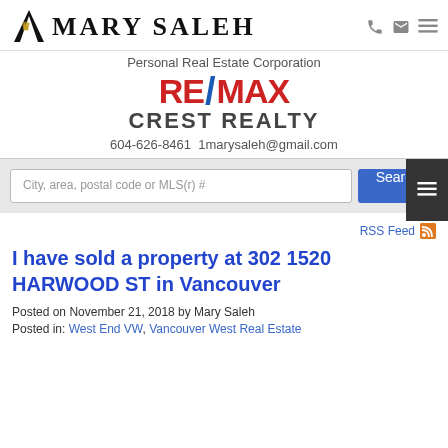[Figure (logo): Mary Saleh personal real estate logo with stylized M and crown icon]
Personal Real Estate Corporation
[Figure (logo): RE/MAX Crest Realty logo in red and blue]
604-626-8461  1marysaleh@gmail.com
City, area, postal code or MLS(r) #
RSS Feed
I have sold a property at 302 1520 HARWOOD ST in Vancouver
Posted on November 21, 2018 by Mary Saleh
Posted in: West End VW, Vancouver West Real Estate